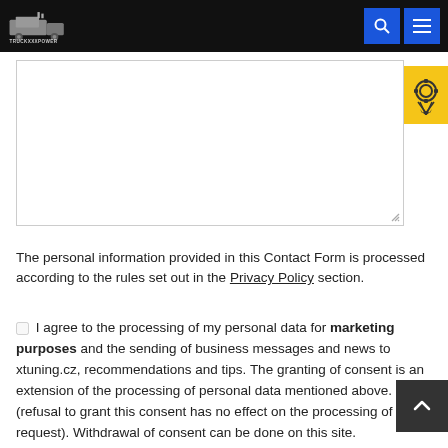TRUCKLOOPOWER
[Figure (screenshot): Textarea input field for a contact form, empty, with resize handle at bottom right]
[Figure (illustration): Gold/yellow badge icon with gear/ribbon symbol on yellow background]
The personal information provided in this Contact Form is processed according to the rules set out in the Privacy Policy section.
I agree to the processing of my personal data for marketing purposes and the sending of business messages and news to xtuning.cz, recommendations and tips. The granting of consent is an extension of the processing of personal data mentioned above. (refusal to grant this consent has no effect on the processing of the request). Withdrawal of consent can be done on this site.
[Figure (illustration): Dark grey back-to-top button with upward chevron arrow]